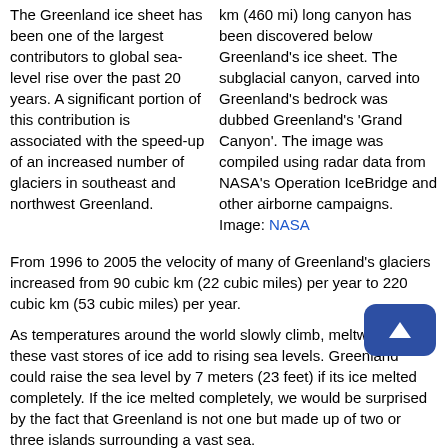The Greenland ice sheet has been one of the largest contributors to global sea-level rise over the past 20 years. A significant portion of this contribution is associated with the speed-up of an increased number of glaciers in southeast and northwest Greenland.
km (460 mi) long canyon has been discovered below Greenland's ice sheet. The subglacial canyon, carved into Greenland's bedrock was dubbed Greenland's 'Grand Canyon'. The image was compiled using radar data from NASA's Operation IceBridge and other airborne campaigns. Image: NASA
From 1996 to 2005 the velocity of many of Greenland's glaciers increased from 90 cubic km (22 cubic miles) per year to 220 cubic km (53 cubic miles) per year.
As temperatures around the world slowly climb, meltwaters from these vast stores of ice add to rising sea levels. Greenland could raise the sea level by 7 meters (23 feet) if its ice melted completely. If the ice melted completely, we would be surprised by the fact that Greenland is not one but made up of two or three islands surrounding a vast sea.
Hidden underneath the ice is Greenland's 'Grand Canyon,' a recent discovery by NASA's Operation IceBridge in 2009, ice-penetrating radar data showed a huge subglacial canyon, carved into Greenland's bedrock below the ice, collectively called the...